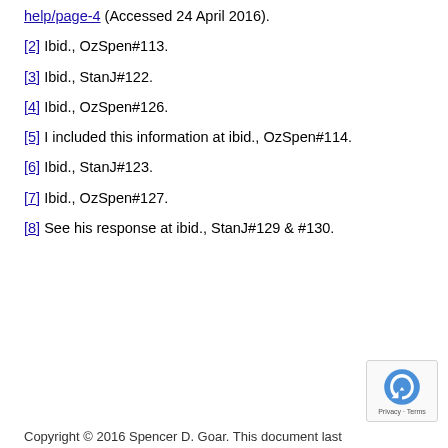help/page-4 (Accessed 24 April 2016).
[2] Ibid., OzSpen#113.
[3] Ibid., StanJ#122.
[4] Ibid., OzSpen#126.
[5] I included this information at ibid., OzSpen#114.
[6] Ibid., StanJ#123.
[7] Ibid., OzSpen#127.
[8] See his response at ibid., StanJ#129 & #130.
Copyright © 2016 Spencer D. Goar. This document last